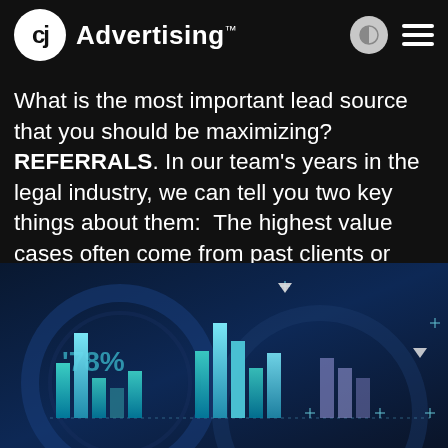CJ Advertising
What is the most important lead source that you should be maximizing? REFERRALS. In our team's years in the legal industry, we can tell you two key things about them:  The highest value cases often come from past clients or other people in your network. The [...]
[Figure (illustration): A digital analytics/data visualization illustration showing bar charts with teal/cyan colored bars on a dark blue background, with circular gauge elements and the text '78%' visible, plus decorative crosshair/plus markers and downward-pointing arrow indicators.]